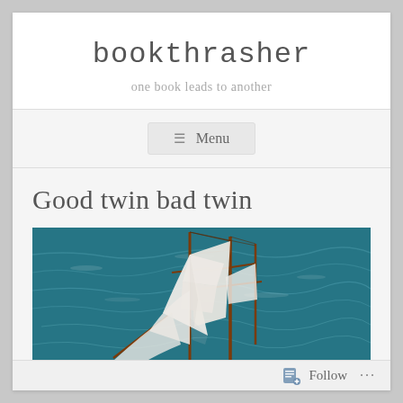bookthrasher
one book leads to another
≡ Menu
Good twin bad twin
[Figure (photo): A sailing ship with white sails against a dark teal ocean, photographed from above showing the masts and rigging.]
Follow  ...